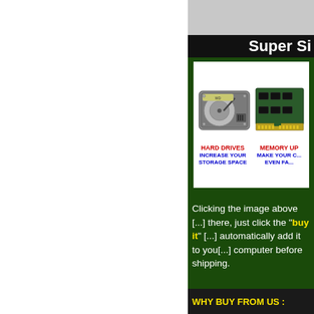Super Si
[Figure (illustration): Image showing a hard drive and a memory/RAM module. Below the images: HARD DRIVES - INCREASE YOUR STORAGE SPACE | MEMORY UP - MAKE YOUR C... EVEN FA...]
Clicking the image above [...]  there, just click the "buy it" [...] automatically add it to you[...] computer before shipping.
WHY BUY FROM US :